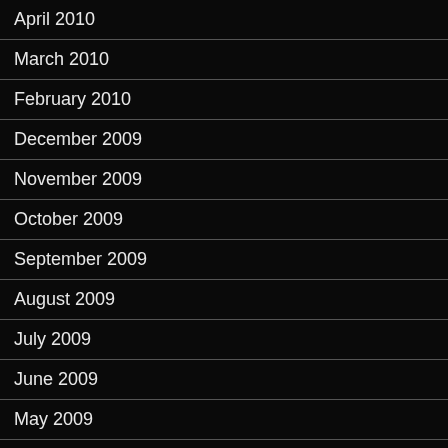April 2010
March 2010
February 2010
December 2009
November 2009
October 2009
September 2009
August 2009
July 2009
June 2009
May 2009
April 2009